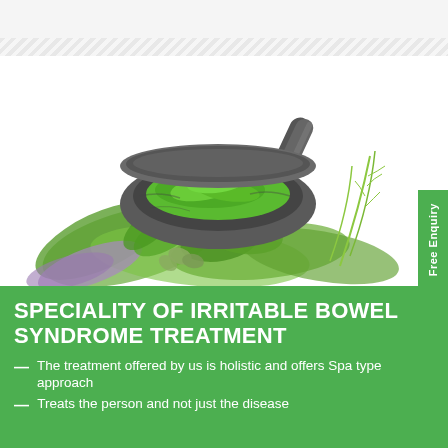[Figure (photo): A marble mortar and pestle filled with green herbs and leaves, surrounded by an assortment of fresh green herbs including mint, parsley, dill, cardamom, and other medicinal plants on a white background.]
SPECIALITY OF IRRITABLE BOWEL SYNDROME TREATMENT
The treatment offered by us is holistic and offers Spa type approach
Treats the person and not just the disease